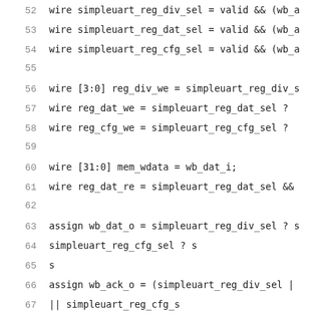52    wire simpleuart_reg_div_sel = valid && (wb_a
53    wire simpleuart_reg_dat_sel = valid && (wb_a
54    wire simpleuart_reg_cfg_sel = valid && (wb_a
55
56    wire [3:0] reg_div_we = simpleuart_reg_div_s
57    wire reg_dat_we = simpleuart_reg_dat_sel ?
58    wire reg_cfg_we = simpleuart_reg_cfg_sel ?
59
60    wire [31:0] mem_wdata = wb_dat_i;
61    wire reg_dat_re = simpleuart_reg_dat_sel &&
62
63    assign wb_dat_o = simpleuart_reg_div_sel ? s
64                        simpleuart_reg_cfg_sel ? s
65                                                  s
66    assign wb_ack_o = (simpleuart_reg_div_sel |
67                        || simpleuart_reg_cfg_s
68
69    simpleuart simpleuart (
70        .clk    (wb_clk_i),
71        .resetn (resetn),
72